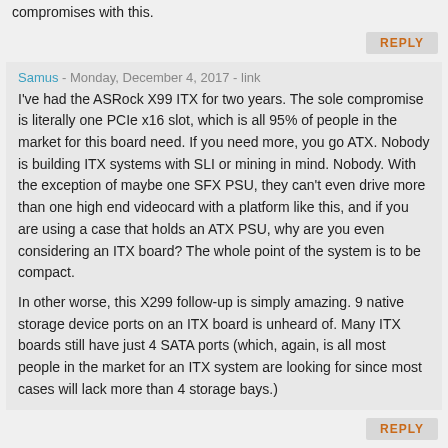compromises with this.
REPLY
Samus - Monday, December 4, 2017 - link
I've had the ASRock X99 ITX for two years. The sole compromise is literally one PCIe x16 slot, which is all 95% of people in the market for this board need. If you need more, you go ATX. Nobody is building ITX systems with SLI or mining in mind. Nobody. With the exception of maybe one SFX PSU, they can't even drive more than one high end videocard with a platform like this, and if you are using a case that holds an ATX PSU, why are you even considering an ITX board? The whole point of the system is to be compact.
In other worse, this X299 follow-up is simply amazing. 9 native storage device ports on an ITX board is unheard of. Many ITX boards still have just 4 SATA ports (which, again, is all most people in the market for an ITX system are looking for since most cases will lack more than 4 storage bays.)
REPLY
Gadgety - Monday, December 4, 2017 - link
"If you need more, you go ATX."